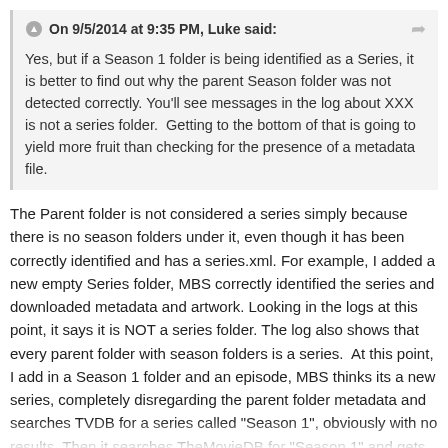On 9/5/2014 at 9:35 PM, Luke said:
Yes, but if a Season 1 folder is being identified as a Series, it is better to find out why the parent Season folder was not detected correctly. You'll see messages in the log about XXX is not a series folder.  Getting to the bottom of that is going to yield more fruit than checking for the presence of a metadata file.
The Parent folder is not considered a series simply because there is no season folders under it, even though it has been correctly identified and has a series.xml. For example, I added a new empty Series folder, MBS correctly identified the series and downloaded metadata and artwork. Looking in the logs at this point, it says it is NOT a series folder. The log also shows that every parent folder with season folders is a series.  At this point, I add in a Season 1 folder and an episode, MBS thinks its a new series, completely disregarding the parent folder metadata and searches TVDB for a series called "Season 1", obviously with no results. Then it searches TheMovieDB for "Season 1" and gets "Love of Ray J" every time.